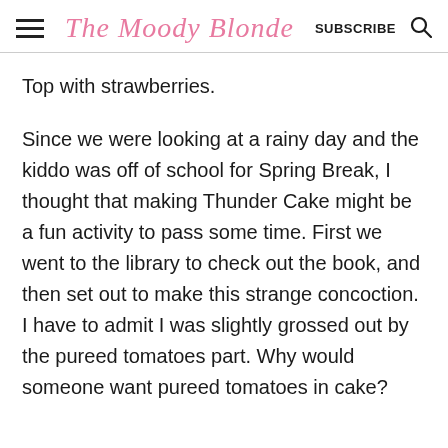The Moody Blonde  SUBSCRIBE
Top with strawberries.
Since we were looking at a rainy day and the kiddo was off of school for Spring Break, I thought that making Thunder Cake might be a fun activity to pass some time. First we went to the library to check out the book, and then set out to make this strange concoction. I have to admit I was slightly grossed out by the pureed tomatoes part. Why would someone want pureed tomatoes in cake?